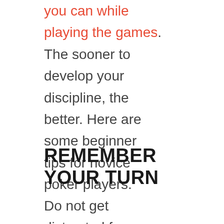you can while playing the games. The sooner to develop your discipline, the better. Here are some beginner tips for novice poker players.
REMEMBER YOUR TURN
Do not get distracted from the game and focus on your